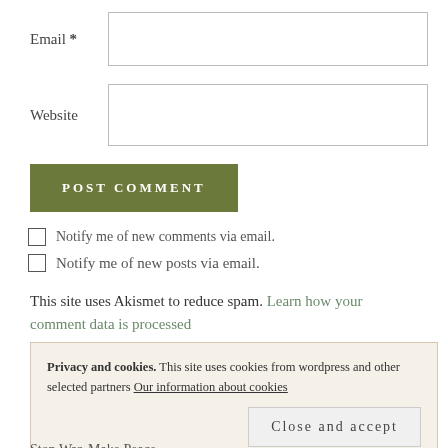Email *
Website
POST COMMENT
Notify me of new comments via email.
Notify me of new posts via email.
This site uses Akismet to reduce spam. Learn how your comment data is processed
Privacy and cookies. This site uses cookies from wordpress and other selected partners Our information about cookies
Close and accept
Stop War. Make Peace.